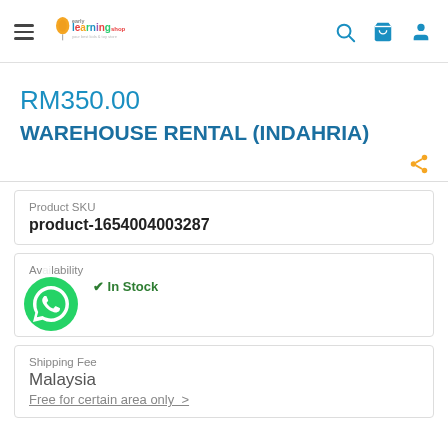Early Learning Shop — navigation header with hamburger menu, logo, search, cart, and user icons
RM350.00
WAREHOUSE RENTAL (INDAHRIA)
| Product SKU |
| --- |
| product-1654004003287 |
| Availability |
| --- |
| In Stock |
| Shipping Fee |
| --- |
| Malaysia |
| Free for certain area only  > |